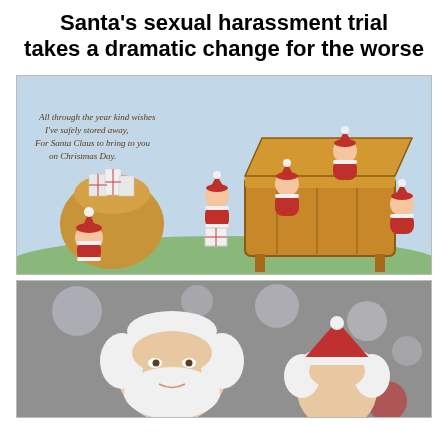Santa's sexual harassment trial takes a dramatic change for the worse
[Figure (illustration): Vintage Christmas card illustration showing several baby cherubs dressed in red Santa suits playing around a wooden cradle/chest. A sack of gifts is on the left. Text on the card reads: 'All through the year kind wishes I've safely stored away, For Santa Claus to bring to you on Christmas Day.']
[Figure (photo): Photo of a person dressed as Santa Claus with white hair and beard, partially visible, against a blurry background with lights.]